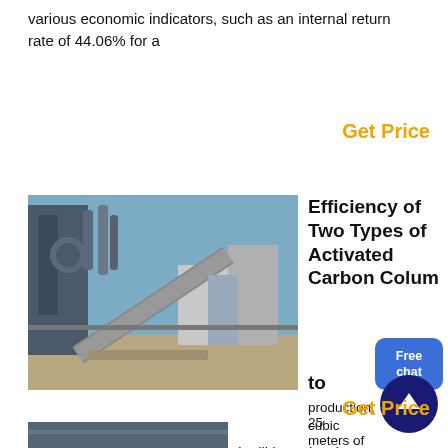various economic indicators, such as an internal return rate of 44.06% for a
Get Price
[Figure (photo): Industrial facility exterior showing large pipes, conveyor belts, and industrial equipment against a blue sky.]
Efficiency of Two Types of Activated Carbon Colum to
production, 25 cubic meters of water
and 4 to 5 tons of hat each steel mill in Malaysia uses average of about . of water per day. This large amount of water is activated carbon is among the successful treatment materials in the field of water and wastewater treatment. Activated Carbon
Get Price
[Figure (photo): Partial view of another industrial or environmental facility at the bottom of the page.]